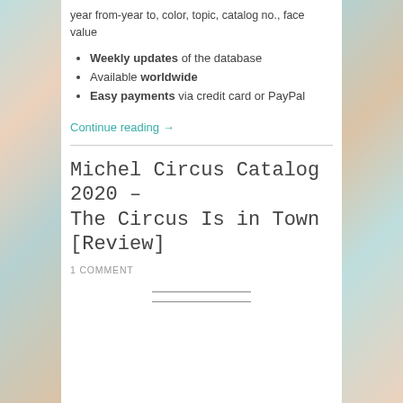year from-year to, color, topic, catalog no., face value
Weekly updates of the database
Available worldwide
Easy payments via credit card or PayPal
Continue reading →
Michel Circus Catalog 2020 – The Circus Is in Town [Review]
1 COMMENT